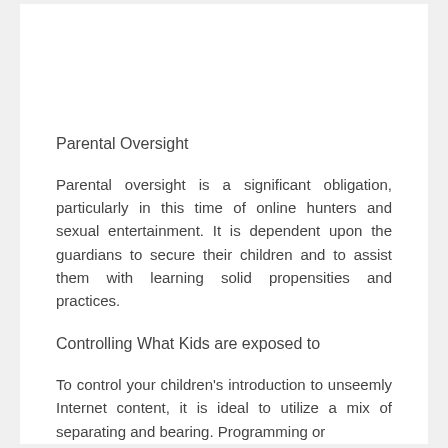Parental Oversight
Parental oversight is a significant obligation, particularly in this time of online hunters and sexual entertainment. It is dependent upon the guardians to secure their children and to assist them with learning solid propensities and practices.
Controlling What Kids are exposed to
To control your children's introduction to unseemly Internet content, it is ideal to utilize a mix of separating and bearing. Programming or